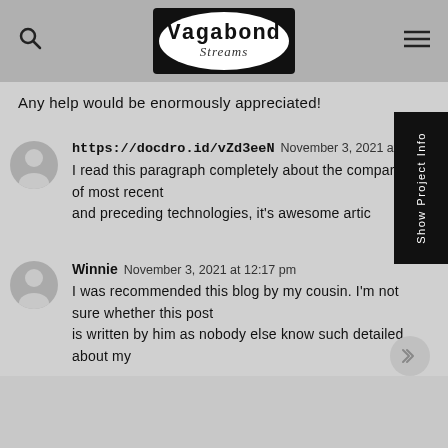[Figure (logo): Vagabond Streams logo in black box with white oval]
Any help would be enormously appreciated!
https://docdro.id/vZd3eeN   November 3, 2021 at 11
I read this paragraph completely about the comparison of most recent
and preceding technologies, it's awesome artic
Winnie   November 3, 2021 at 12:17 pm
I was recommended this blog by my cousin. I'm not sure whether this post
is written by him as nobody else know such detailed about my